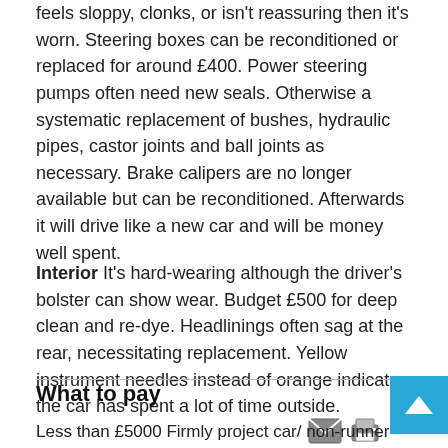feels sloppy, clonks, or isn't reassuring then it's worn. Steering boxes can be reconditioned or replaced for around £400. Power steering pumps often need new seals. Otherwise a systematic replacement of bushes, hydraulic pipes, castor joints and ball joints as necessary. Brake calipers are no longer available but can be reconditioned. Afterwards it will drive like a new car and will be money well spent.
Interior It's hard-wearing although the driver's bolster can show wear. Budget £500 for deep clean and re-dye. Headlinings often sag at the rear, necessitating replacement. Yellow instrument needles instead of orange indicate the car has spent a lot of time outside.
What to pay
Less than £5000 Firmly project car/ non-runner territory.